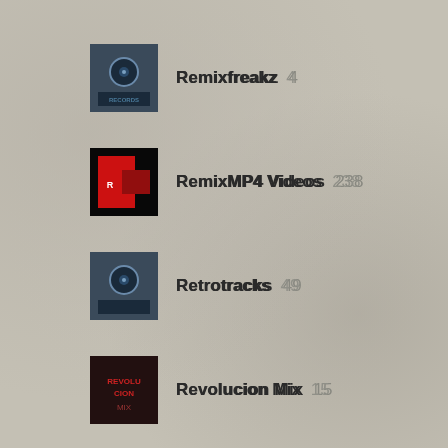Remixfreakz  4
RemixMP4 Videos  238
Retrotracks  49
Revolucion Mix  15
Riddims  11
Rock & Country Videos  110
Rompe Discoteca  51
Russian Records  182
Samples For Scratch  4
Select Mix  299